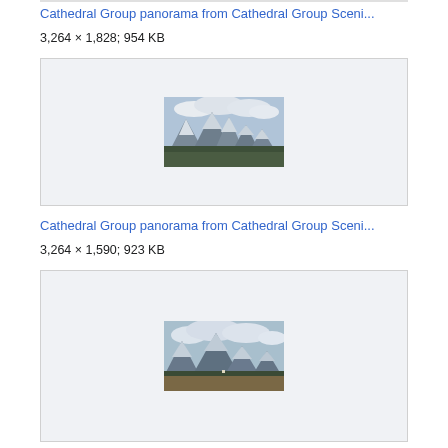Cathedral Group panorama from Cathedral Group Sceni...
3,264 × 1,828; 954 KB
[Figure (photo): Panoramic photo of Cathedral Group mountain peaks with snow-capped summits and cloudy sky, green meadow in foreground]
Cathedral Group panorama from Cathedral Group Sceni...
3,264 × 1,590; 923 KB
[Figure (photo): Panoramic photo of Cathedral Group mountain peaks with snow-capped summits, clouds, and brown scrubland in foreground]